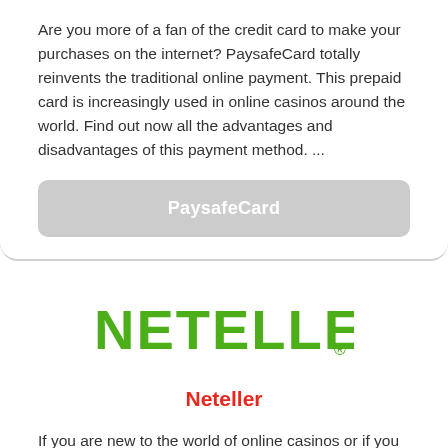Are you more of a fan of the credit card to make your purchases on the internet? PaysafeCard totally reinvents the traditional online payment. This prepaid card is increasingly used in online casinos around the world. Find out now all the advantages and disadvantages of this payment method. ...
PaysafeCard
[Figure (logo): NETELLER logo in green bold font with registered trademark symbol]
Neteller
If you are new to the world of online casinos or if you want to use a deposit method other than bank cards or prepaid tickets, let yourself be convinced by one of the leaders on